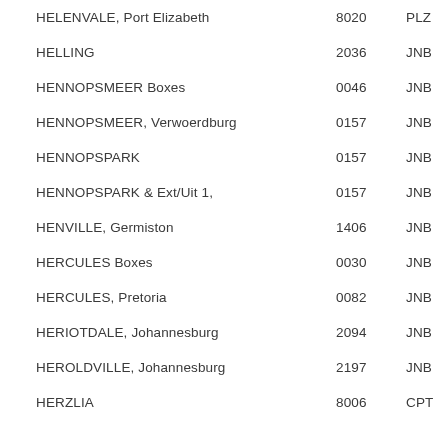| HELENVALE, Port Elizabeth | 8020 | PLZ |
| HELLING | 2036 | JNB |
| HENNOPSMEER Boxes | 0046 | JNB |
| HENNOPSMEER, Verwoerdburg | 0157 | JNB |
| HENNOPSPARK | 0157 | JNB |
| HENNOPSPARK & Ext/Uit 1, | 0157 | JNB |
| HENVILLE, Germiston | 1406 | JNB |
| HERCULES Boxes | 0030 | JNB |
| HERCULES, Pretoria | 0082 | JNB |
| HERIOTDALE, Johannesburg | 2094 | JNB |
| HEROLDVILLE, Johannesburg | 2197 | JNB |
| HERZLIA | 8006 | CPT |